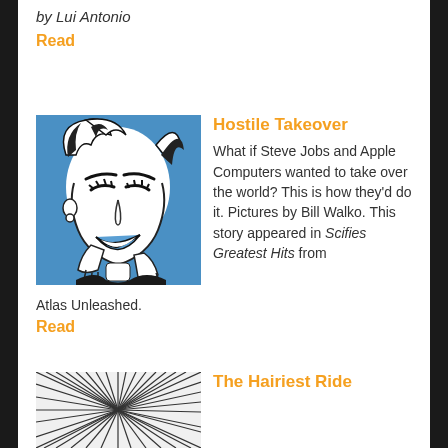by Lui Antonio
Read
[Figure (illustration): Comic-style pop art illustration of a woman with styled hair, eyes closed, smiling, touching her face with both hands, in blue and black tones]
Hostile Takeover
What if Steve Jobs and Apple Computers wanted to take over the world? This is how they'd do it. Pictures by Bill Walko. This story appeared in Scifies Greatest Hits from Atlas Unleashed.
Read
[Figure (illustration): Manga-style illustration with radiating lines, partially visible at bottom of page]
The Hairiest Ride